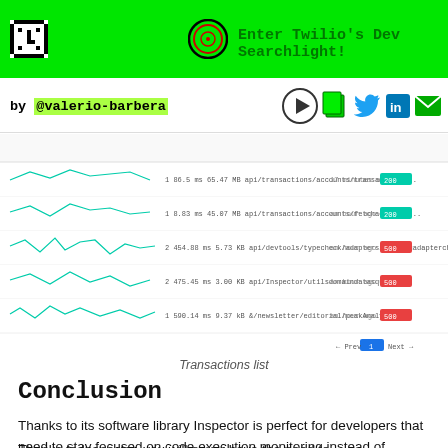Enter Twilio's Dev Searchlight!
by @valerio-barbera
[Figure (screenshot): Transactions list UI showing multiple rows with sparkline graphs, response times, sizes, endpoints, timestamps and status tags]
Transactions list
Conclusion
Thanks to its software library Inspector is perfect for developers that need to stay focused on code execution monitoring instead of infrastructure management.
Thanks to Inspector, you will never have the need to